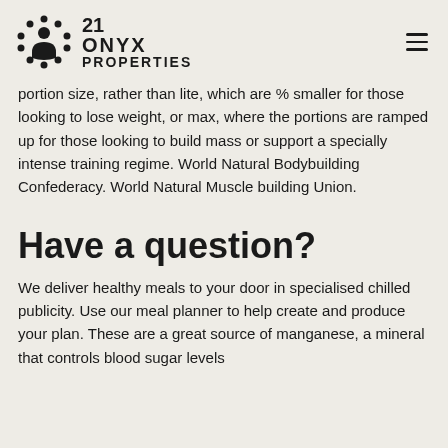[Figure (logo): 21 Onyx Properties logo with circular ornamental icon and bold text]
portion size, rather than lite, which are % smaller for those looking to lose weight, or max, where the portions are ramped up for those looking to build mass or support a specially intense training regime. World Natural Bodybuilding Confederacy. World Natural Muscle building Union.
Have a question?
We deliver healthy meals to your door in specialised chilled publicity. Use our meal planner to help create and produce your plan. These are a great source of manganese, a mineral that controls blood sugar levels